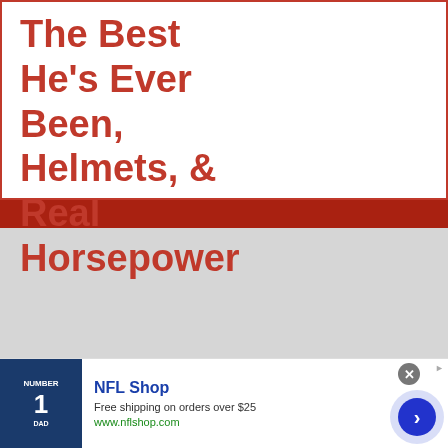The Best He's Ever Been, Helmets, & Real Horsepower
[Figure (other): Gray placeholder advertisement area]
[Figure (other): NFL Shop advertisement banner with jersey image, title 'NFL Shop', text 'Free shipping on orders over $25', URL 'www.nflshop.com', close button, and navigation arrow]